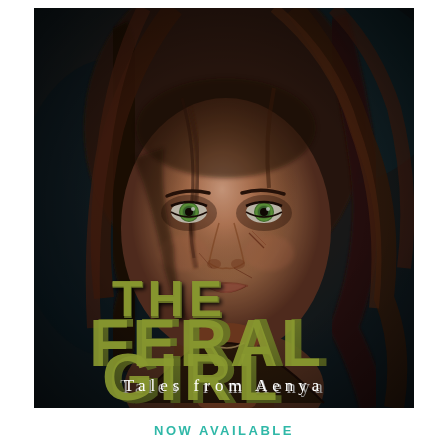[Figure (illustration): Book cover for 'The Feral Girl: Tales from Aenya'. Features a close-up digital illustration of a young woman with green eyes and brown hair, scratches on her face, with olive-green distressed lettering reading 'THE FERAL GIRL' overlaid on the image, and 'Tales from Aenya' in white serif text at the bottom of the cover. Dark moody atmosphere.]
NOW AVAILABLE